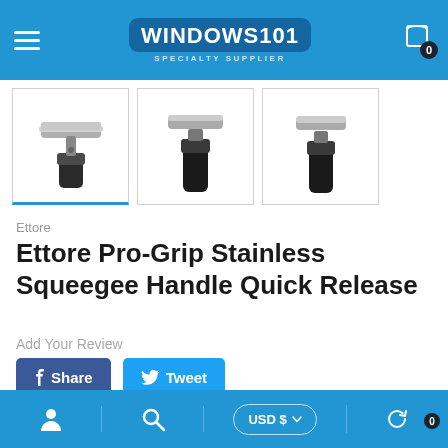[Figure (screenshot): E-commerce product page for Ettore Pro-Grip Stainless Squeegee Handle Quick Release on Windows101 Specialty Supplier website. Shows header with logo, three product thumbnail images of a squeegee handle, product brand and title, review link, share/tweet buttons, and bottom navigation bar.]
Ettore
Ettore Pro-Grip Stainless Squeegee Handle Quick Release
Add Your Review
Share
Tweet